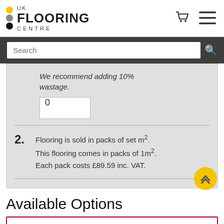[Figure (logo): UK Flooring Centre logo with yellow, gray, and black circles]
Search
We recommend adding 10% wastage.
0
2. Flooring is sold in packs of set m². This flooring comes in packs of 1m². Each pack costs £89.59 inc. VAT.
Available Options